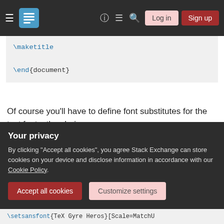TeX Stack Exchange navigation bar with hamburger menu, logo, help, chat, search icons, Log in and Sign up buttons
\maketitle

\end{document}
Of course you'll have to define font substitutes for the text fonts; the choice
\ifxetex
  \newcommand{\textls}[2][5]{%
    \begingroup\addfontfeatures{LetterSpace
  }
Your privacy
By clicking "Accept all cookies", you agree Stack Exchange can store cookies on your device and disclose information in accordance with our Cookie Policy.
Accept all cookies  Customize settings
\setsansfont{TeX Gyre Heros}[Scale=MatchU